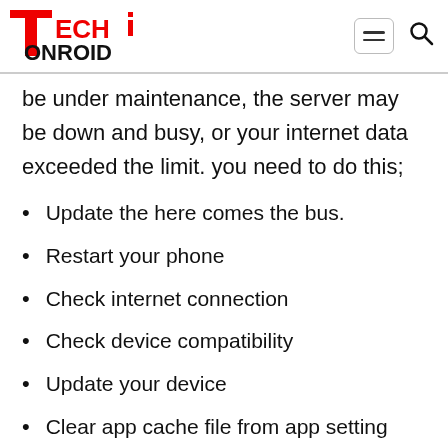Tech Onroid logo with hamburger menu and search icon
be under maintenance, the server may be down and busy, or your internet data exceeded the limit. you need to do this;
Update the here comes the bus.
Restart your phone
Check internet connection
Check device compatibility
Update your device
Clear app cache file from app setting